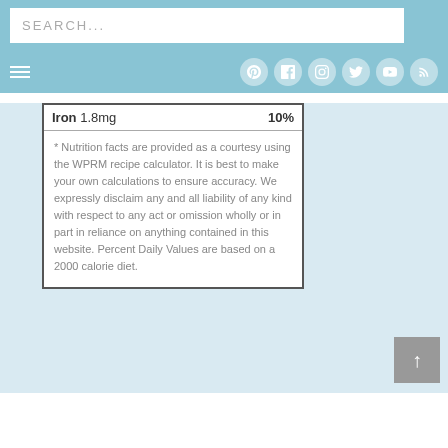SEARCH...
| Iron 1.8mg | 10% |
| --- | --- |
* Nutrition facts are provided as a courtesy using the WPRM recipe calculator. It is best to make your own calculations to ensure accuracy. We expressly disclaim any and all liability of any kind with respect to any act or omission wholly or in part in reliance on anything contained in this website. Percent Daily Values are based on a 2000 calorie diet.